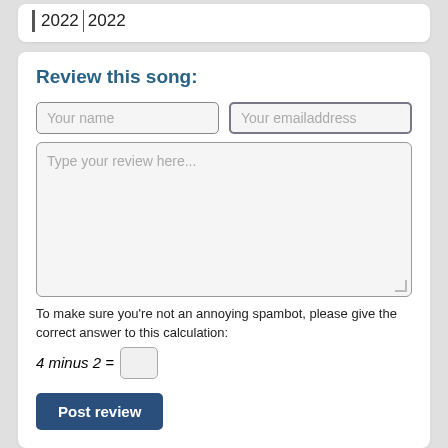| 2022 | 2022 |
| --- | --- |
Review this song:
Your name
Your emailaddress
Type your review here...
To make sure you're not an annoying spambot, please give the correct answer to this calculation:
4 minus 2 =
Post review
Reviews Soulmate